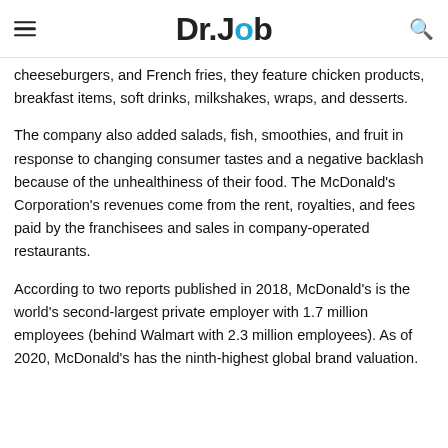Dr.Job
cheeseburgers, and French fries, they feature chicken products, breakfast items, soft drinks, milkshakes, wraps, and desserts.
The company also added salads, fish, smoothies, and fruit in response to changing consumer tastes and a negative backlash because of the unhealthiness of their food. The McDonald's Corporation's revenues come from the rent, royalties, and fees paid by the franchisees and sales in company-operated restaurants.
According to two reports published in 2018, McDonald's is the world's second-largest private employer with 1.7 million employees (behind Walmart with 2.3 million employees). As of 2020, McDonald's has the ninth-highest global brand valuation.